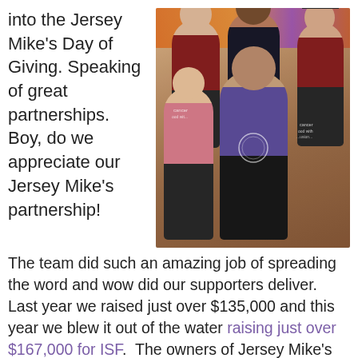into the Jersey Mike's Day of Giving. Speaking of great partnerships. Boy, do we appreciate our Jersey Mike's partnership!
[Figure (photo): Group photo of several people (staff in red aprons/shirts and two young people) posing together inside a Jersey Mike's restaurant. Colorful background visible.]
The team did such an amazing job of spreading the word and wow did our supporters deliver. Last year we raised just over $135,000 and this year we blew it out of the water raising just over $167,000 for ISF.  The owners of Jersey Mike's and their staff rocked it out that day in their